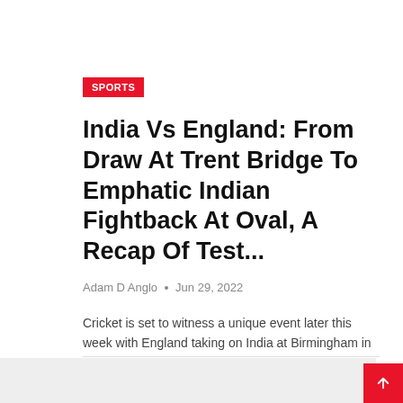SPORTS
India Vs England: From Draw At Trent Bridge To Emphatic Indian Fightback At Oval, A Recap Of Test...
Adam D Anglo • Jun 29, 2022
Cricket is set to witness a unique event later this week with England taking on India at Birmingham in a...
[Figure (other): Gray bottom section with red scroll-to-top button arrow]